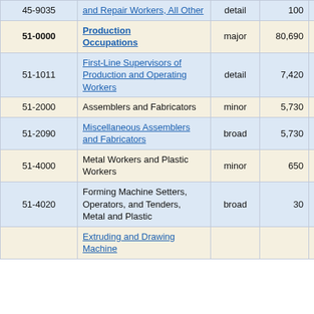| Code | Occupation | Level | Employment | % Change |
| --- | --- | --- | --- | --- |
| 45-9035 | and Repair Workers, All Other | detail | 100 | 25.2% |
| 51-0000 | Production Occupations | major | 80,690 | 1.2% |
| 51-1011 | First-Line Supervisors of Production and Operating Workers | detail | 7,420 | 2.4% |
| 51-2000 | Assemblers and Fabricators | minor | 5,730 | 10.5% |
| 51-2090 | Miscellaneous Assemblers and Fabricators | broad | 5,730 | 10.5% |
| 51-4000 | Metal Workers and Plastic Workers | minor | 650 | 18.7% |
| 51-4020 | Forming Machine Setters, Operators, and Tenders, Metal and Plastic | broad | 30 | 10.4% |
|  | Extruding and Drawing Machine... |  |  |  |